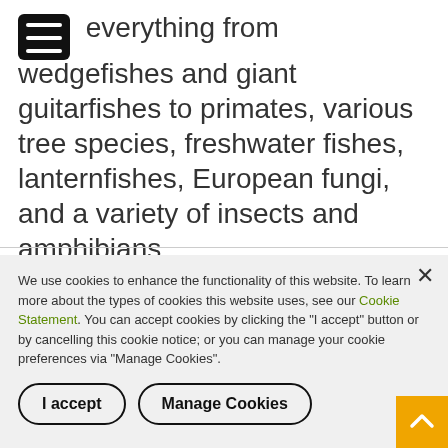everything from wedgefishes and giant guitarfishes to primates, various tree species, freshwater fishes, lanternfishes, European fungi, and a variety of insects and amphibians.
We use cookies to enhance the functionality of this website. To learn more about the types of cookies this website uses, see our Cookie Statement. You can accept cookies by clicking the "I accept" button or by cancelling this cookie notice; or you can manage your cookie preferences via "Manage Cookies".